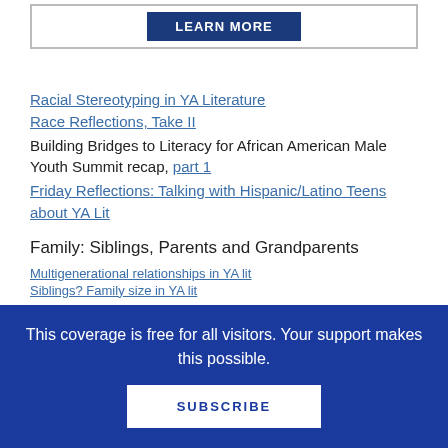[Figure (other): LEARN MORE button inside a bordered box]
Racial Stereotyping in YA Literature
Race Reflections, Take II
Building Bridges to Literacy for African American Male Youth Summit recap, part 1
Friday Reflections: Talking with Hispanic/Latino Teens about YA Lit
Family: Siblings, Parents and Grandparents
Multigenerational relationships in YA lit
Siblings? Family size in YA lit
This coverage is free for all visitors. Your support makes this possible.
[Figure (other): SUBSCRIBE button]